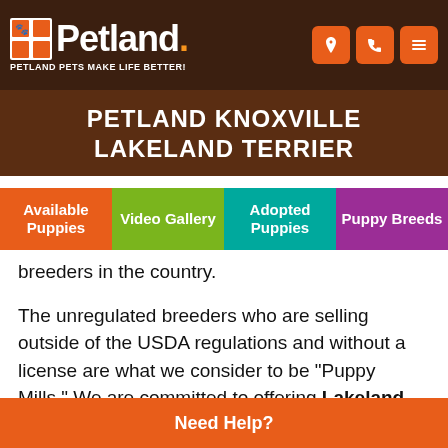Petland — PETLAND PETS MAKE LIFE BETTER!
PETLAND KNOXVILLE LAKELAND TERRIER
Available Puppies | Video Gallery | Adopted Puppies | Puppy Breeds
breeders in the country.
The unregulated breeders who are selling outside of the USDA regulations and without a license are what we consider to be “Puppy Mills.” We are committed to offering Lakeland Terrier puppies who will grow up to become important members of your family. We only purchase puppies from the very best sources, and we stand behind every puppy we sell.
Contact us today to learn more about the availability of our
Need Help?